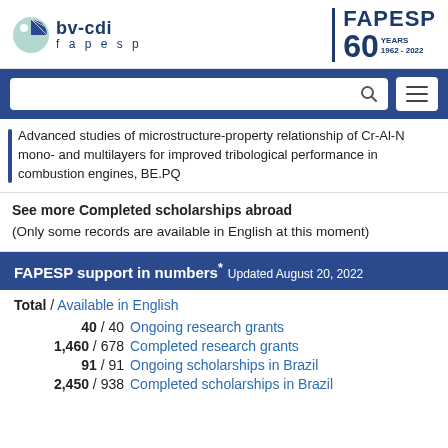[Figure (logo): bv-cdi fapesp logo on the left and FAPESP 60 YEARS 1962-2022 logo on the right]
[Figure (screenshot): Search bar with magnifying glass icon and hamburger menu button on dark blue background]
Advanced studies of microstructure-property relationship of Cr-Al-N mono- and multilayers for improved tribological performance in combustion engines, BE.PQ
See more Completed scholarships abroad
(Only some records are available in English at this moment)
FAPESP support in numbers* Updated August 20, 2022
Total / Available in English
40 / 40 Ongoing research grants
1,460 / 678 Completed research grants
91 / 91 Ongoing scholarships in Brazil
2,450 / 938 Completed scholarships in Brazil